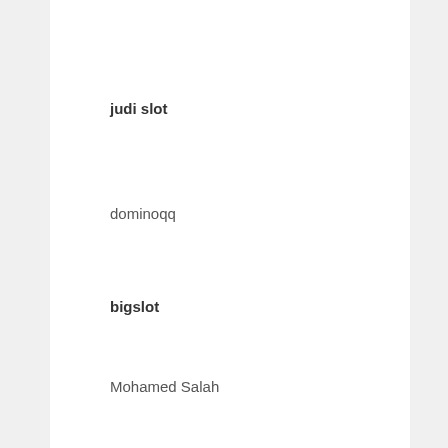judi slot
dominoqq
bigslot
Mohamed Salah
situs slot terpercaya
domino99